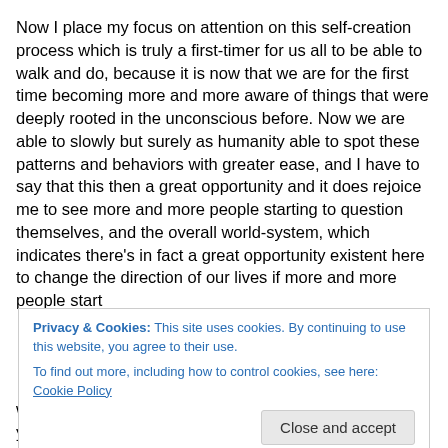Now I place my focus on attention on this self-creation process which is truly a first-timer for us all to be able to walk and do, because it is now that we are for the first time becoming more and more aware of things that were deeply rooted in the unconscious before. Now we are able to slowly but surely as humanity able to spot these patterns and behaviors with greater ease, and I have to say that this then a great opportunity and it does rejoice me to see more and more people starting to question themselves, and the overall world-system, which indicates there's in fact a great opportunity existent here to change the direction of our lives if more and more people start
Privacy & Cookies: This site uses cookies. By continuing to use this website, you agree to their use. To find out more, including how to control cookies, see here: Cookie Policy
Close and accept
whom we've shared our lives, our writings for over 7 years now, keeping in constant processes of developing